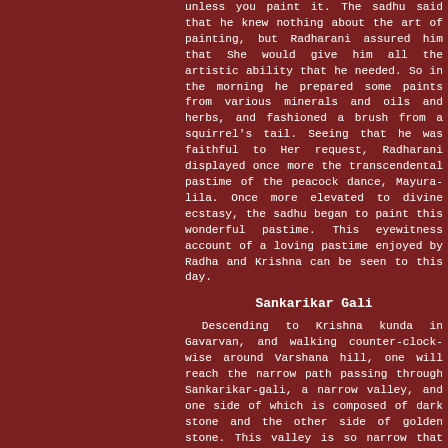unless you paint it. The sadhu said that he knew nothing about the art of painting, but Radharani assured him that She would give him all the artistic ability that he needed. So in the morning he prepared some paints from various minerals and oils and herbs, and fashioned a brush from a squirrel's tail. Seeing that he was faithful to Her request, Radharani displayed once more the transcendental pastime of the peacock dance, Mayura-lila. Once more elevated to divine ecstasy, the sadhu began to paint this wonderful pastime. This eyewitness account of a loving pastime enjoyed by Radha and Krishna can be seen to this day.
Sankarikar Gali
Descending to Krishna kunda in Gavarvan, and walking counter-clock-wise around Varshana hill, one will reach the narrow path passing through Sankarikar-gali, a narrow valley, and one side of which is composed of dark stone and the other side of golden stone. This valley is so narrow that people must pass single-file.
This is the very spot where Radharani and Her Sakhis pass on their way to Varshana for the purpose of selling their milk products in the marketplace. As they file through this valley they meet Sri Krishna, who tells them that this valley and whole area of Vraja belongs to Him and that they must pay an appropriate toll if they wish to continue their errand. Srimati Radharani refuses